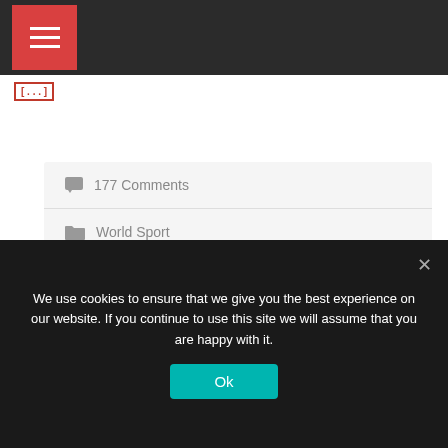Navigation menu bar
[...]
177 Comments
World Sport
About Inexpensive Virtual private server Hosting
April 17, 2018   John Jackson
We use cookies to ensure that we give you the best experience on our website. If you continue to use this site we will assume that you are happy with it.